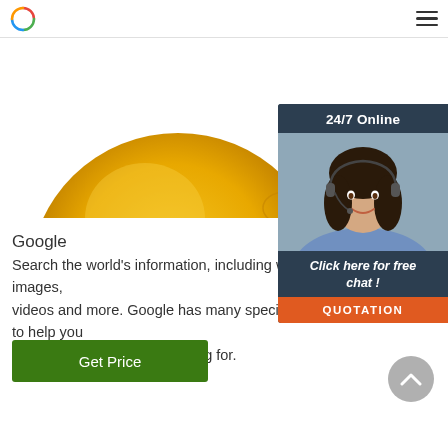[Figure (photo): Yellow/golden donut-shaped rubber product on white background, top portion visible]
[Figure (infographic): 24/7 Online customer service widget with female agent wearing headset, 'Click here for free chat!' text and orange QUOTATION button]
Google
Search the world's information, including webpages, images, videos and more. Google has many special features to help you find exactly what you're looking for.
[Figure (other): Green 'Get Price' button]